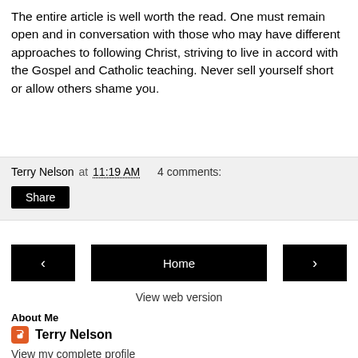The entire article is well worth the read. One must remain open and in conversation with those who may have different approaches to following Christ, striving to live in accord with the Gospel and Catholic teaching. Never sell yourself short or allow others shame you.
Terry Nelson at 11:19 AM   4 comments:
Share
< Home >
View web version
About Me
Terry Nelson
View my complete profile